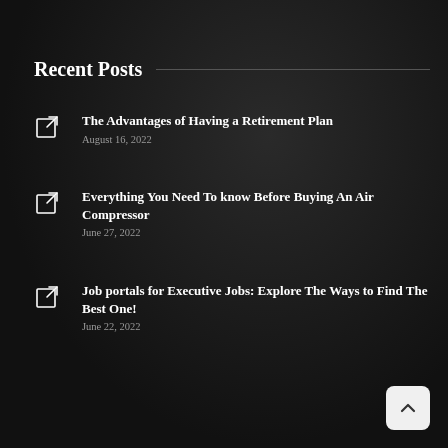Recent Posts
The Advantages of Having a Retirement Plan
August 16, 2022
Everything You Need To know Before Buying An Air Compressor
June 27, 2022
Job portals for Executive Jobs: Explore The Ways to Find The Best One!
June 22, 2022